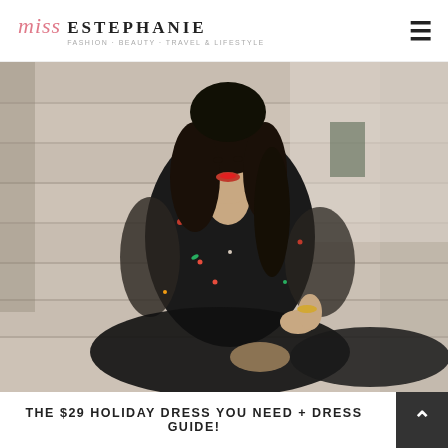miss Estephanie — Fashion, Beauty, Travel & Lifestyle
[Figure (photo): Young woman with long dark hair sitting on stone steps, wearing a black floral embroidered mesh maxi dress with sheer sleeves, smiling, outdoor staircase background]
THE $29 HOLIDAY DRESS YOU NEED + DRESS GUIDE!